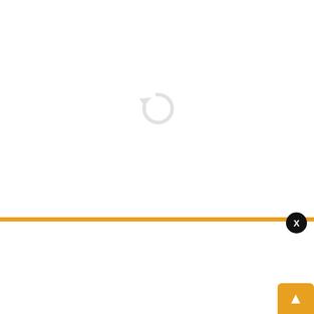[Figure (screenshot): White area with a grey reload/refresh spinner icon in the center, indicating content failed to load.]
FOOTBALL- ENGLISH P
[Figure (screenshot): Blue circular notification bell button with a red badge showing '1'.]
[Figure (screenshot): News notification card: image of India women's football team with Indian flag, headline 'FIFA lifts ban on AIFF, U-17 Women's World Cup to go', timestamp '2 days ago'.]
FIFA lifts ban on AIFF, U-17 Women's World Cup to go
2 days ago
X
[Figure (screenshot): Orange/amber up-arrow box button in bottom right corner.]